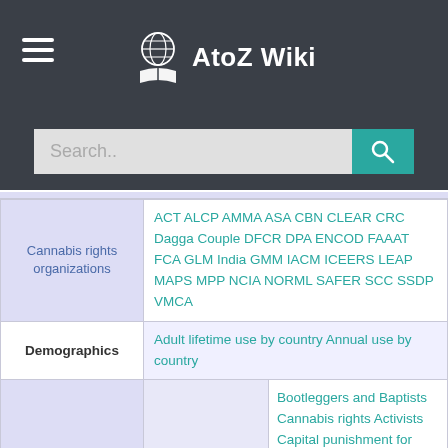AtoZ Wiki
| Category | Links |
| --- | --- |
| Cannabis rights organizations | ACT ALCP AMMA ASA CBN CLEAR CRC Dagga Couple DFCR DPA ENCOD FAAAT FCA GLM India GMM IACM ICEERS LEAP MAPS MPP NCIA NORML SAFER SCC SSDP VMCA |
| Demographics | Adult lifetime use by country Annual use by country |
|  | Bootleggers and Baptists Cannabis rights Activists Capital punishment for cannabis trafficking Effects of legalized cannabis Global Marijuana March |